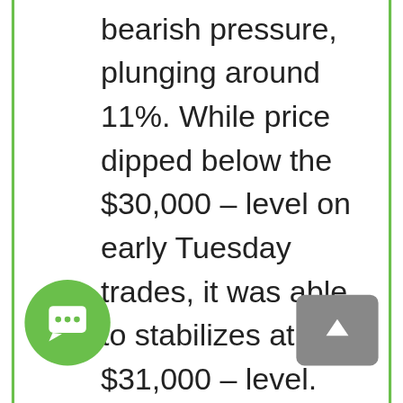bearish pressure, plunging around 11%. While price dipped below the $30,000 – level on early Tuesday trades, it was able to stabilizes at $31,000 – level. However, the rebound was short lived as price slipped below the $30,000 – level on Wednesday, leading to 40% of the Bitcoin holders being underwater. Being underwater is a term used to describe addresses that hold and that were purchased above the current market price. The